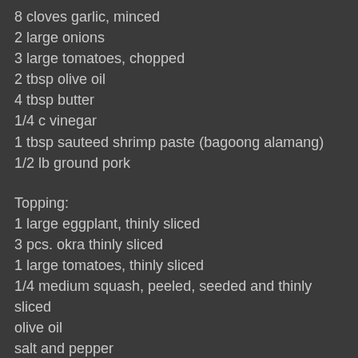8 cloves garlic, minced
2 large onions
3 large tomatoes, chopped
2 tbsp olive oil
4 tbsp butter
1/4 c vinegar
1 tbsp sauteed shrimp paste (bagoong alamang)
1/2 lb ground pork
Topping:
1 large eggplant, thinly sliced
3 pcs. okra thinly sliced
1 large tomatoes, thinly sliced
1/4 medium squash, peeled, seeded and thinly sliced
olive oil
salt and pepper
Procedure:
Pre-heat oven for 350 degrees.
Crust:
Mix together the flour, sugar and salt.  Add the butter cubes and mix it together.  Add in the eggs and form a ball.  Pour a little water if the dough is not binding to allow for better binding.